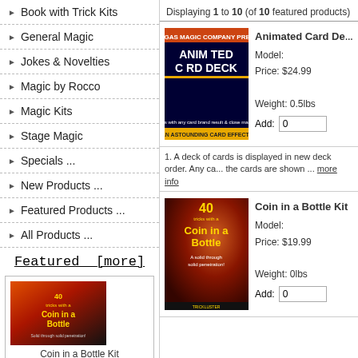Book with Trick Kits
General Magic
Jokes & Novelties
Magic by Rocco
Magic Kits
Stage Magic
Specials ...
New Products ...
Featured Products ...
All Products ...
Featured [more]
[Figure (photo): Coin in a Bottle Kit product image thumbnail]
Coin in a Bottle Kit
[Figure (photo): Blank Deck product image thumbnail]
Displaying 1 to 10 (of 10 featured products)
[Figure (photo): Animated Card Deck product cover image]
Animated Card Deck
Model:
Price: $24.99
Weight: 0.5lbs
Add: 0
1. A deck of cards is displayed in new deck order. Any ca... the cards are shown ... more info
[Figure (photo): Coin in a Bottle Kit product cover image]
Coin in a Bottle Kit
Model:
Price: $19.99
Weight: 0lbs
Add: 0